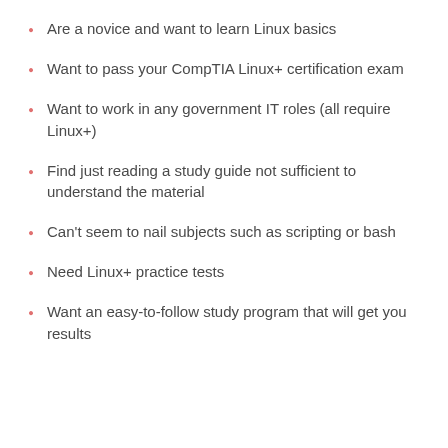Are a novice and want to learn Linux basics
Want to pass your CompTIA Linux+ certification exam
Want to work in any government IT roles (all require Linux+)
Find just reading a study guide not sufficient to understand the material
Can't seem to nail subjects such as scripting or bash
Need Linux+ practice tests
Want an easy-to-follow study program that will get you results